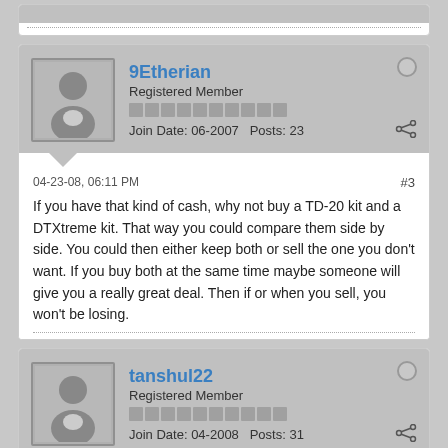[Figure (screenshot): Partial top of a previous forum post card, shown cut off at top of page]
9Etherian
Registered Member
Join Date: 06-2007  Posts: 23
04-23-08, 06:11 PM  #3
If you have that kind of cash, why not buy a TD-20 kit and a DTXtreme kit. That way you could compare them side by side. You could then either keep both or sell the one you don't want. If you buy both at the same time maybe someone will give you a really great deal. Then if or when you sell, you won't be losing.
tanshul22
Registered Member
Join Date: 04-2008  Posts: 31
04-23-08, 09:45 PM  #4